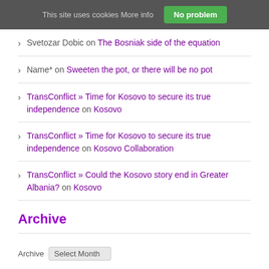This site uses cookies More info   No problem
Svetozar Dobic on The Bosniak side of the equation
Name* on Sweeten the pot, or there will be no pot
TransConflict » Time for Kosovo to secure its true independence on Kosovo
TransConflict » Time for Kosovo to secure its true independence on Kosovo Collaboration
TransConflict » Could the Kosovo story end in Greater Albania? on Kosovo
Archive
Archive   Select Month